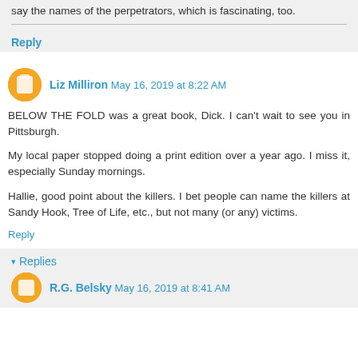say the names of the perpetrators, which is fascinating, too.
Reply
Liz Milliron  May 16, 2019 at 8:22 AM
BELOW THE FOLD was a great book, Dick. I can't wait to see you in Pittsburgh.
My local paper stopped doing a print edition over a year ago. I miss it, especially Sunday mornings.
Hallie, good point about the killers. I bet people can name the killers at Sandy Hook, Tree of Life, etc., but not many (or any) victims.
Reply
Replies
R.G. Belsky  May 16, 2019 at 8:41 AM